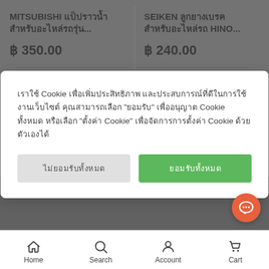MITSUBISHI แป็ปราวน้ำสำหรับอะไหล่รถรุ่น...
฿ 350.00
SEIKEN ลูกยางเบรคสำหรับอะไหล่รถ HINO...
฿ 240.00
เราใช้ Cookie เพื่อเพิ่มประสิทธิภาพ และประสบการณ์ที่ดีในการใช้งานเว็บไซต์ คุณสามารถเลือก "ยอมรับ" เพื่ออนุญาต Cookie ทั้งหมด หรือเลือก "ตั้งค่า Cookie" เพื่อจัดการการตั้งค่า Cookie ด้วยตัวเองได้
ไม่ยอมรับทั้งหมด
ยอมรับทั้งหมด
Home
Search
Account
Cart